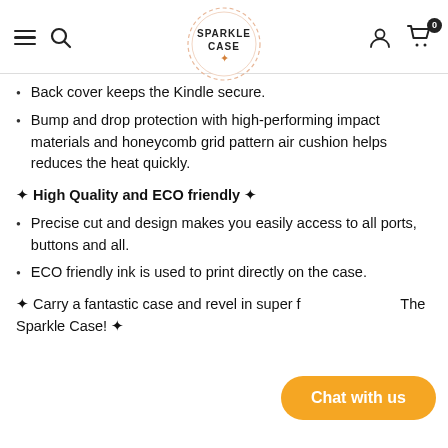SPARKLE CASE
Back cover keeps the Kindle secure.
Bump and drop protection with high-performing impact materials and honeycomb grid pattern air cushion helps reduces the heat quickly.
✦ High Quality and ECO friendly ✦
Precise cut and design makes you easily access to all ports, buttons and all.
ECO friendly ink is used to print directly on the case.
✦ Carry a fantastic case and revel in super f… The Sparkle Case! ✦